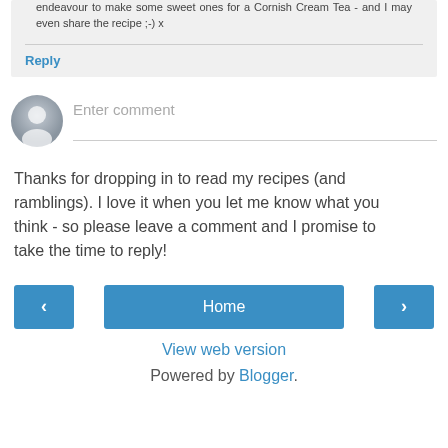endeavour to make some sweet ones for a Cornish Cream Tea - and I may even share the recipe ;-) x
Reply
[Figure (other): Avatar circle icon for entering a comment, with placeholder text 'Enter comment' and a horizontal line below]
Thanks for dropping in to read my recipes (and ramblings). I love it when you let me know what you think - so please leave a comment and I promise to take the time to reply!
[Figure (other): Navigation row with left arrow button, Home button, and right arrow button]
View web version
Powered by Blogger.